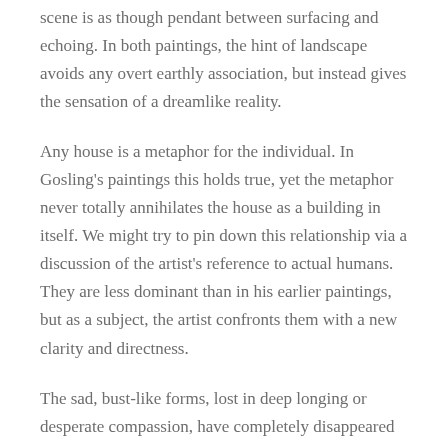scene is as though pendant between surfacing and echoing. In both paintings, the hint of landscape avoids any overt earthly association, but instead gives the sensation of a dreamlike reality.
Any house is a metaphor for the individual. In Gosling's paintings this holds true, yet the metaphor never totally annihilates the house as a building in itself. We might try to pin down this relationship via a discussion of the artist's reference to actual humans. They are less dominant than in his earlier paintings, but as a subject, the artist confronts them with a new clarity and directness.
The sad, bust-like forms, lost in deep longing or desperate compassion, have completely disappeared from the work. But out of them has come an astonishing meditation on the relationship between plenitude and blankness, a paradox in any speculation on the wholeness of the cosmos, and its